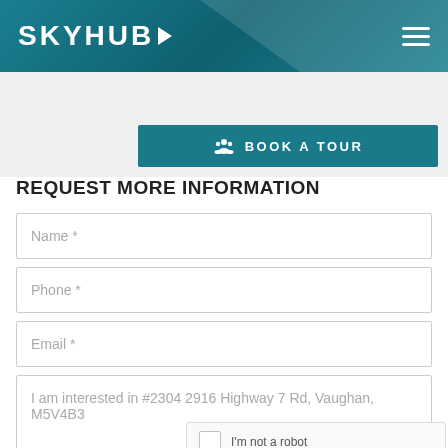SKYHUB
[Figure (other): Book a Tour button with person/group icon]
REQUEST MORE INFORMATION
Name *
Phone *
Email *
I am interested in #2304 2916 Highway 7 Rd, Vaughan, M5V4B3
[Figure (other): reCAPTCHA I'm not a robot checkbox]